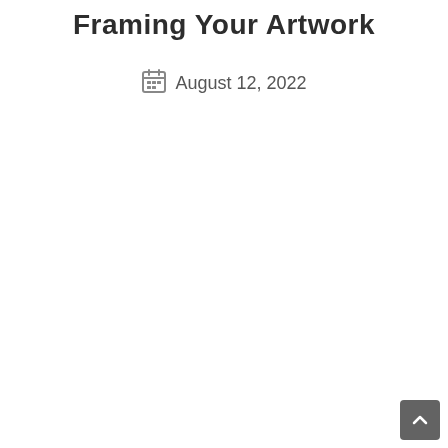Framing Your Artwork
August 12, 2022